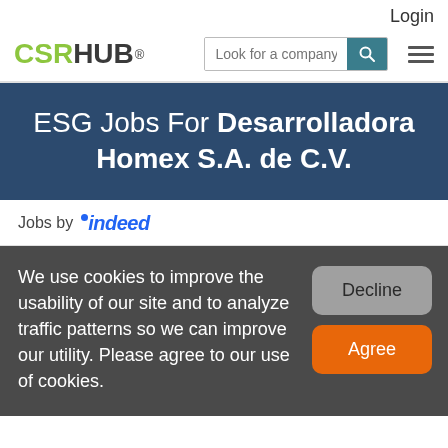Login
[Figure (logo): CSRHUB logo with green CSR and dark HUB text, registered trademark symbol]
Look for a company (search bar)
ESG Jobs For Desarrolladora Homex S.A. de C.V.
Jobs by indeed
We use cookies to improve the usability of our site and to analyze traffic patterns so we can improve our utility. Please agree to our use of cookies.